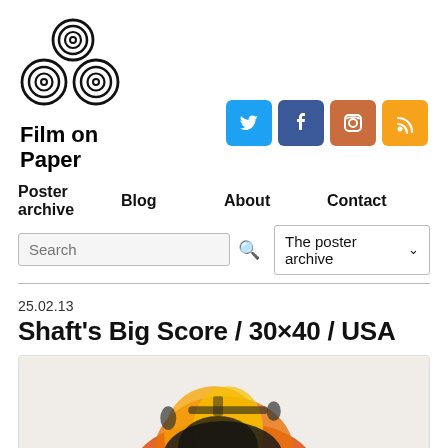[Figure (logo): Film on Paper logo: three concentric-circle symbols arranged in a triangle pattern, above bold text 'Film on Paper']
[Figure (infographic): Social media icons: Twitter (blue), Facebook (dark blue), Instagram (orange/brown), RSS (yellow/orange)]
Poster archive   Blog   About   Contact
Search  |  The poster archive
25.02.13
Shaft's Big Score / 30×40 / USA
[Figure (photo): Partial view of a movie poster for Shaft's Big Score showing an action scene with an explosion, helicopter, and figures in a dynamic composition with orange and red flames]